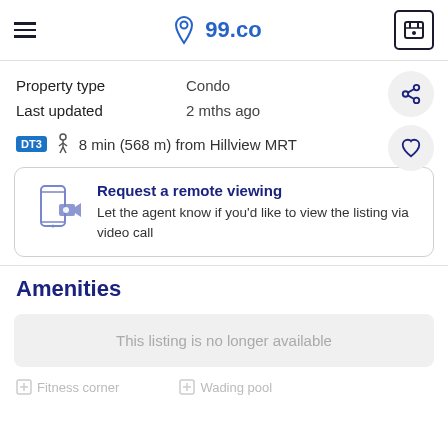99.co
| Property type | Condo |
| --- | --- |
| Last updated | 2 mths ago |
DT3 — 8 min (568 m) from Hillview MRT
Request a remote viewing — Let the agent know if you'd like to view the listing via video call
Amenities
This listing is no longer available
Fitness corner   Wading pool